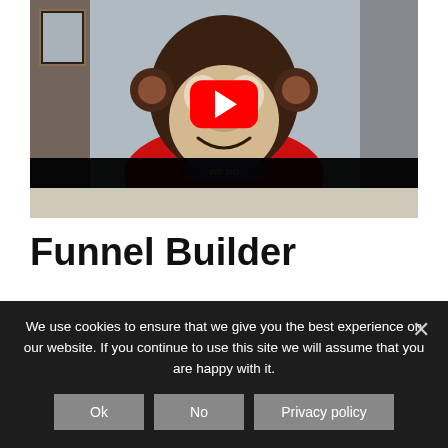[Figure (screenshot): YouTube video thumbnail showing a large stuffed monkey/gorilla toy wearing a red outfit, with YouTube play button overlay in center. Room background with framed pictures, microphone, and dark figures visible.]
Funnel Builder
We use cookies to ensure that we give you the best experience on our website. If you continue to use this site we will assume that you are happy with it.
Ok   No   Privacy policy